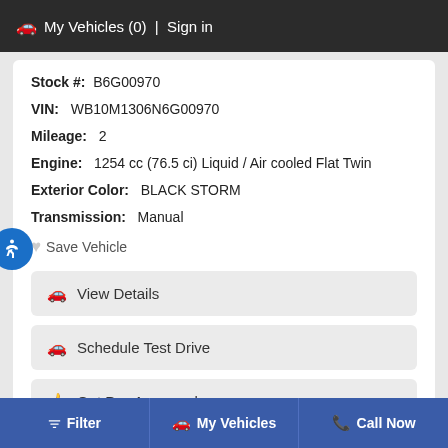🚗 My Vehicles (0) | Sign in
Stock #: B6G00970
VIN: WB10M1306N6G00970
Mileage: 2
Engine: 1254 cc (76.5 ci) Liquid / Air cooled Flat Twin
Exterior Color: BLACK STORM
Transmission: Manual
♡ Save Vehicle
🚗 View Details
🚗 Schedule Test Drive
👍 Get Pre-Approved
Filter | My Vehicles | Call Now